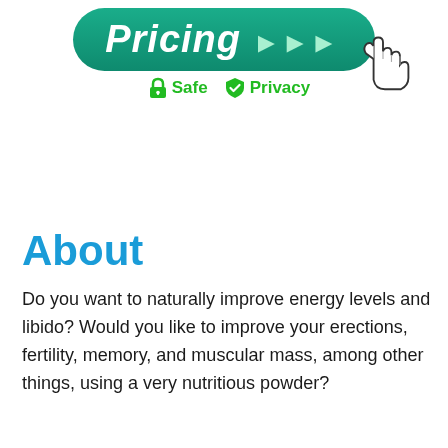[Figure (illustration): Green rounded rectangle button with italic bold white text 'Pricing >>>' and a hand cursor icon, with 'Safe' and 'Privacy' green trust badges below]
About
Do you want to naturally improve energy levels and libido? Would you like to improve your erections, fertility, memory, and muscular mass, among other things, using a very nutritious powder?